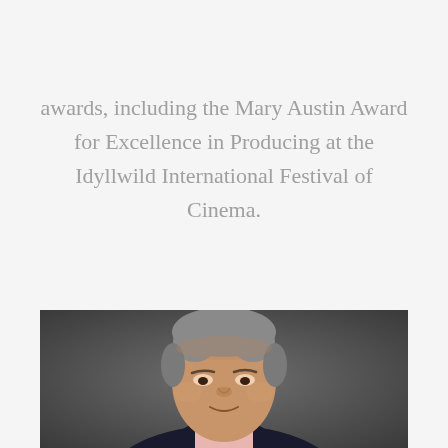awards, including the Mary Austin Award for Excellence in Producing at the Idyllwild International Festival of Cinema.
[Figure (photo): Professional headshot portrait of a middle-aged man with gray hair, wearing a dark suit and light pink shirt, photographed against a dark gray background.]